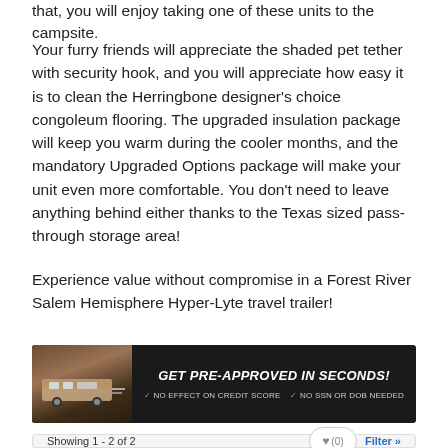that, you will enjoy taking one of these units to the campsite.
Your furry friends will appreciate the shaded pet tether with security hook, and you will appreciate how easy it is to clean the Herringbone designer’s choice congoleum flooring. The upgraded insulation package will keep you warm during the cooler months, and the mandatory Upgraded Options package will make your unit even more comfortable. You don’t need to leave anything behind either thanks to the Texas sized pass-through storage area!
Experience value without compromise in a Forest River Salem Hemisphere Hyper-Lyte travel trailer!
[Figure (infographic): Dark advertisement banner for RV financing: GET PRE-APPROVED IN SECONDS! NO EFFECT ON CREDIT SCORE. NO SSN OR DOB NEEDED. Shows an image of a travel trailer on the left.]
Showing 1 - 2 of 2